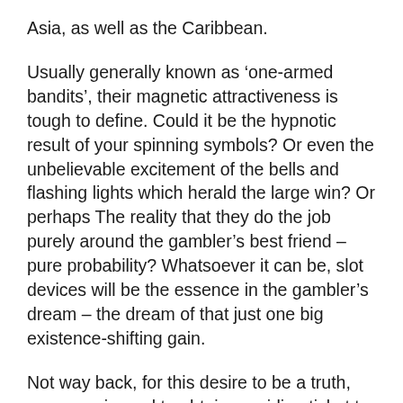Asia, as well as the Caribbean.
Usually generally known as ‘one-armed bandits’, their magnetic attractiveness is tough to define. Could it be the hypnotic result of your spinning symbols? Or even the unbelievable excitement of the bells and flashing lights which herald the large win? Or perhaps The reality that they do the job purely around the gambler’s best friend – pure probability? Whatsoever it can be, slot devices will be the essence in the gambler’s dream – the dream of that just one big existence-shifting gain.
Not way back, for this desire to be a truth, you experienced to obtain an airline ticket to Las Vegas. Squander time travelling. Commit